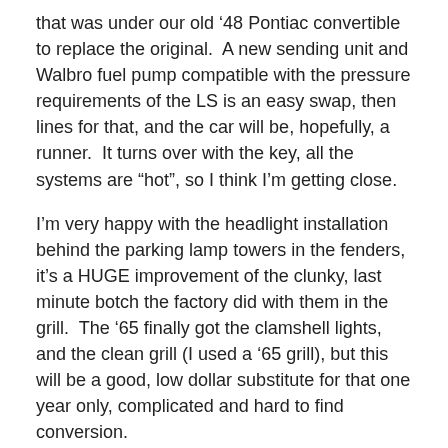that was under our old ’48 Pontiac convertible to replace the original.  A new sending unit and Walbro fuel pump compatible with the pressure requirements of the LS is an easy swap, then lines for that, and the car will be, hopefully, a runner.  It turns over with the key, all the systems are “hot”, so I think I’m getting close.
I’m very happy with the headlight installation behind the parking lamp towers in the fenders, it’s a HUGE improvement of the clunky, last minute botch the factory did with them in the grill.  The ’65 finally got the clamshell lights, and the clean grill (I used a ’65 grill), but this will be a good, low dollar substitute for that one year only, complicated and hard to find conversion.
I used the headlight buckets that came out of the '59 Thunderbird (which were replaced by '63 Cadillac units),